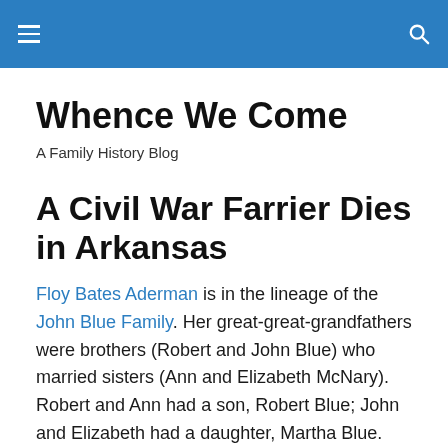Whence We Come — navigation header with hamburger menu and search icon
Whence We Come
A Family History Blog
A Civil War Farrier Dies in Arkansas
Floy Bates Aderman is in the lineage of the John Blue Family. Her great-great-grandfathers were brothers (Robert and John Blue) who married sisters (Ann and Elizabeth McNary). Robert and Ann had a son, Robert Blue; John and Elizabeth had a daughter, Martha Blue. Robert and Martha, first cousins, married each other and